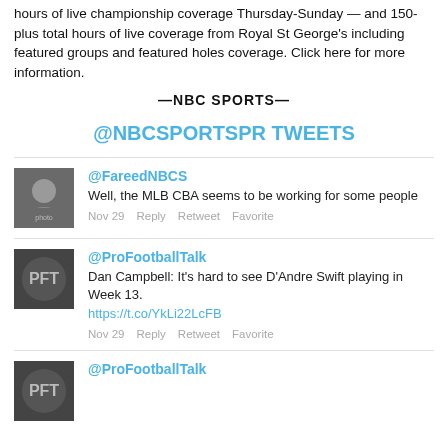hours of live championship coverage Thursday-Sunday — and 150-plus total hours of live coverage from Royal St George's including featured groups and featured holes coverage. Click here for more information.
—NBC SPORTS—
@NBCSPORTSPR TWEETS
@FareedNBCS
Well, the MLB CBA seems to be working for some people
Nov 29   Reply   Retweet   Favorite
@ProFootballTalk
Dan Campbell: It's hard to see D'Andre Swift playing in Week 13.
https://t.co/YkLi22LcFB
Nov 29   Reply   Retweet   Favorite
@ProFootballTalk